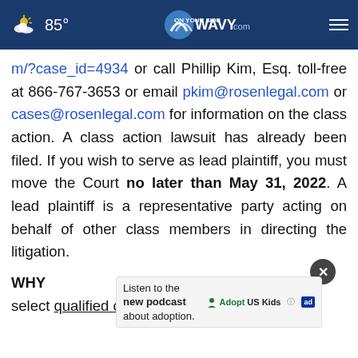85° WAVY.com ON YOUR SIDE
m/?case_id=4934 or call Phillip Kim, Esq. toll-free at 866-767-3653 or email pkim@rosenlegal.com or cases@rosenlegal.com for information on the class action. A class action lawsuit has already been filed. If you wish to serve as lead plaintiff, you must move the Court no later than May 31, 2022. A lead plaintiff is a representative party acting on behalf of other class members in directing the litigation.
WHY ... rs to select qualified counsel with a track record of
[Figure (other): Advertisement overlay: Listen to the new podcast about adoption. Adopt US Kids ad badge.]